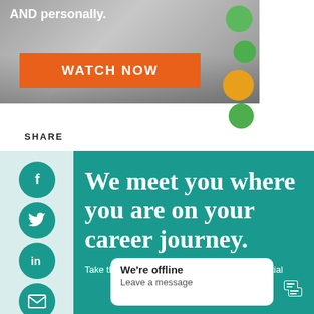[Figure (screenshot): Banner image with laptop/desk background, orange 'WATCH NOW' button, colorful circles, and text 'AND personally.']
SHARE
[Figure (infographic): Teal/cyan background panel with social share sidebar (Facebook, Twitter, LinkedIn, Email icons) and headline text 'We meet you where you are on your career journey.' with subtext 'Take the first step now by scheduling a free initial']
We meet you where you are on your career journey.
Take the first step now by scheduling a free initial
We're offline
Leave a message